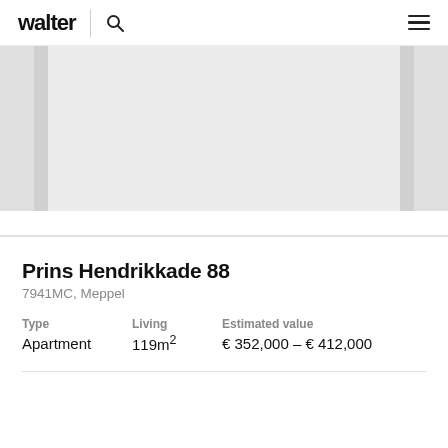walter
[Figure (photo): Property image carousel showing a blurred/placeholder interior image with side panels visible]
Prins Hendrikkade 88
7941MC, Meppel
| Type | Living | Estimated value |
| --- | --- | --- |
| Apartment | 119m² | € 352,000 – € 412,000 |